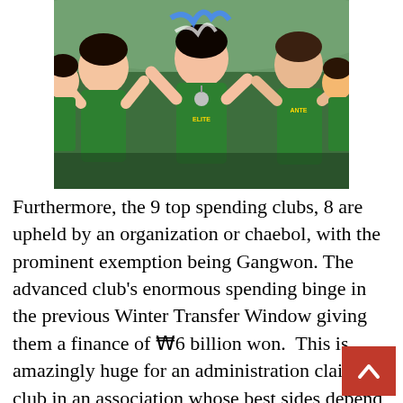[Figure (photo): Soccer players wearing green jerseys celebrating, laughing and cheering with medals around their necks]
Furthermore, the 9 top spending clubs, 8 are upheld by an organization or chaebol, with the prominent exemption being Gangwon. The advanced club's enormous spending binge in the previous Winter Transfer Window giving them a finance of ₩6 billion won.  This is amazingly huge for an administration claimed club in an association whose best sides depend on corporate proprietorship. Seoul E-Land, in the interim, ca close to the base of the table.